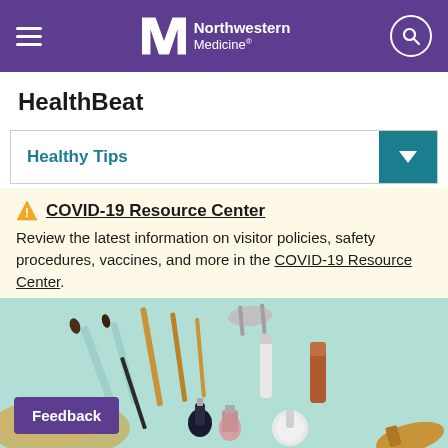Northwestern Medicine
HealthBeat
Healthy Tips
COVID-19 Resource Center
Review the latest information on visitor policies, safety procedures, vaccines, and more in the COVID-19 Resource Center.
[Figure (photo): Flat lay photo of makeup brushes, lipstick, nail polish, an eyelash curler, a face brush, and a hair brush scattered on a mint green background.]
Feedback